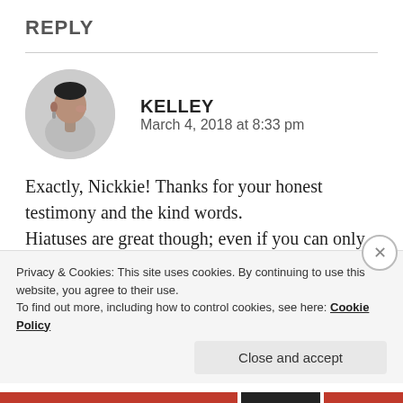REPLY
[Figure (photo): Circular avatar photo of a person in profile view with short hair and earrings, against a light background.]
KELLEY
March 4, 2018 at 8:33 pm
Exactly, Nickkie! Thanks for your honest testimony and the kind words.
Hiatuses are great though; even if you can only do a few hours or days at time, that’s a start. I usually find that I’m not missing anything that
Privacy & Cookies: This site uses cookies. By continuing to use this website, you agree to their use.
To find out more, including how to control cookies, see here: Cookie Policy
Close and accept